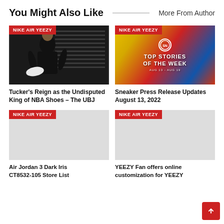You Might Also Like
More From Author
[Figure (photo): Man in black hoodie holding white sneakers in dark studio]
NIKE AIR YEEZY
Tucker's Reign as the Undisputed King of NBA Shoes – The UBJ
[Figure (photo): Top Stories of the Week Aug 13 - Aug 19 colorful sneaker collage]
NIKE AIR YEEZY
Sneaker Press Release Updates August 13, 2022
[Figure (photo): Grey placeholder image]
NIKE AIR YEEZY
Air Jordan 3 Dark Iris CT8532-105 Store List
[Figure (photo): Grey placeholder image]
NIKE AIR YEEZY
YEEZY Fan offers online customization for YEEZY